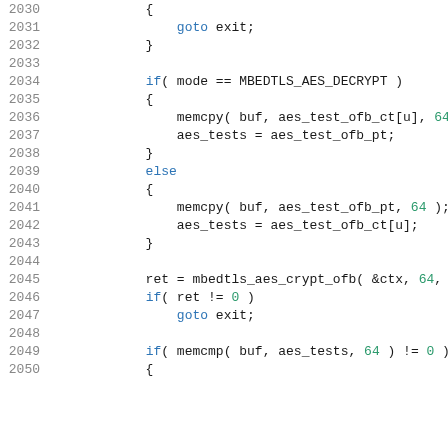[Figure (screenshot): Source code listing in a monospace code viewer showing lines 2030-2050 of C code involving AES OFB mode encryption/decryption logic with memcpy, mbedtls_aes_crypt_ofb, and conditional goto exit statements.]